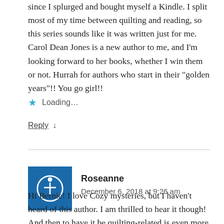since I splurged and bought myself a Kindle. I split most of my time between quilting and reading, so this series sounds like it was written just for me. Carol Dean Jones is a new author to me, and I’m looking forward to her books, whether I win them or not. Hurrah for authors who start in their “golden years”!! You go girl!!
Loading...
Reply ↓
Roseanne
December 6, 2018 at 9:26 am
Hi Bernie! I love Cozy mysteries, but I haven’t heard of this author. I am thrilled to hear it though! And then to have it be quilting-related is even more fun. I’m going to look them up as soon as I finish this message. I have a listed collected at